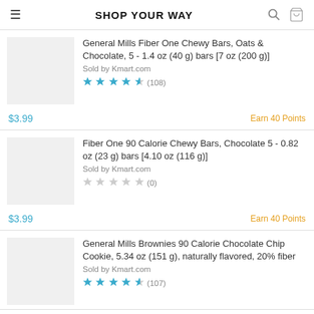SHOP YOUR WAY
General Mills Fiber One Chewy Bars, Oats & Chocolate, 5 - 1.4 oz (40 g) bars [7 oz (200 g)]
Sold by Kmart.com
★★★★½ (108)
$3.99  Earn 40 Points
Fiber One 90 Calorie Chewy Bars, Chocolate 5 - 0.82 oz (23 g) bars [4.10 oz (116 g)]
Sold by Kmart.com
☆☆☆☆☆ (0)
$3.99  Earn 40 Points
General Mills Brownies 90 Calorie Chocolate Chip Cookie, 5.34 oz (151 g), naturally flavored, 20% fiber
Sold by Kmart.com
★★★★½ (107)